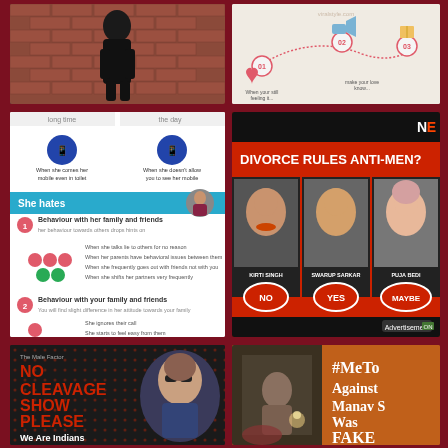[Figure (photo): Woman in black outfit posing against brick wall]
[Figure (infographic): Step-by-step infographic with numbered steps 01, 02, 03 showing a process with icons of heart, megaphone, and book on beige/tan background]
[Figure (infographic): Relationship infographic showing signs she hates you, with sections on behaviour with family and friends. Has blue header bar and icons of groups of people.]
[Figure (screenshot): TV news debate screenshot with text DIVORCE RULES ANTI-MEN? showing three panelists: KIRTI SINGH (NO), SWARUP SARKAR (YES), PUJA BEDI (MAYBE) on red background]
[Figure (photo): Meme on dark background with red text NO CLEAVAGE SHOW PLEASE, white text We Are Indians, and photo of woman in revealing outfit with sunglasses]
[Figure (screenshot): Screenshot with orange background, dark framed photo of person, white text reading #MeTo Against Manav S Was FAKE]